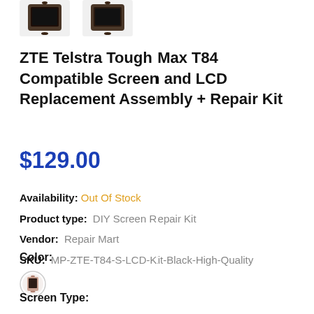[Figure (photo): Two small thumbnail images of the ZTE Telstra Tough Max T84 phone screen replacement product, shown at the top of the page]
ZTE Telstra Tough Max T84 Compatible Screen and LCD Replacement Assembly + Repair Kit
$129.00
Availability: Out Of Stock
Product type: DIY Screen Repair Kit
Vendor: Repair Mart
SKU: MP-ZTE-T84-S-LCD-Kit-Black-High-Quality
Color:
[Figure (photo): Small circular thumbnail of the product color option, showing a black/dark colored screen replacement]
Screen Type: